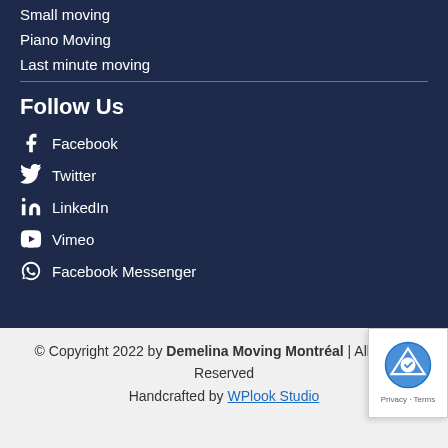Small moving
Piano Moving
Last minute moving
Follow Us
Facebook
Twitter
LinkedIn
Vimeo
Facebook Messenger
© Copyright 2022 by Demelina Moving Montréal | All Rights Reserved
Handcrafted by WPlook Studio